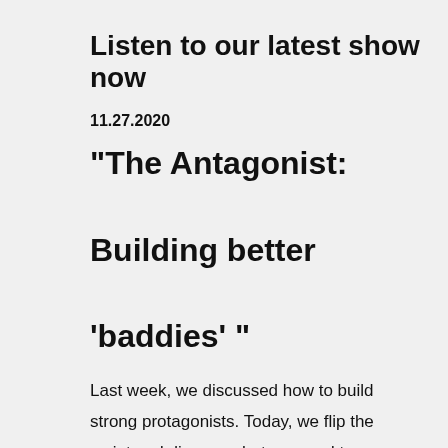Listen to our latest show now
11.27.2020
"The Antagonist: Building better 'baddies' "
Last week, we discussed how to build strong protagonists. Today, we flip the script and discuss what we need to include in order to build better antagonists for our stories - to create the villains we hate to love and love to